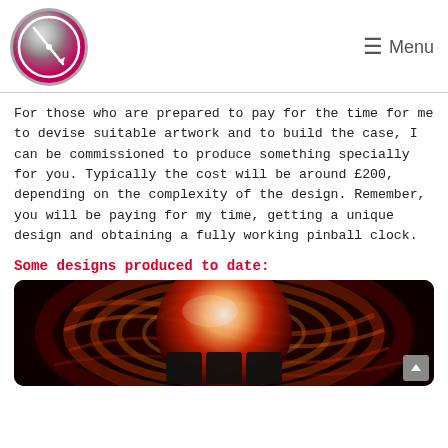[Figure (logo): Circular clock logo with pink-to-dark gradient, white clock hands pointing upper-left and lower-right, white circle border]
≡ Menu
For those who are prepared to pay for the time for me to devise suitable artwork and to build the case, I can be commissioned to produce something specially for you. Typically the cost will be around £200, depending on the complexity of the design. Remember, you will be paying for my time, getting a unique design and obtaining a fully working pinball clock.
Some designs produced to date:
[Figure (photo): Close-up photo of a pinball clock design featuring a large red and orange ball/sphere with swirling streaks on a dark background, with black rectangular panels at the bottom]